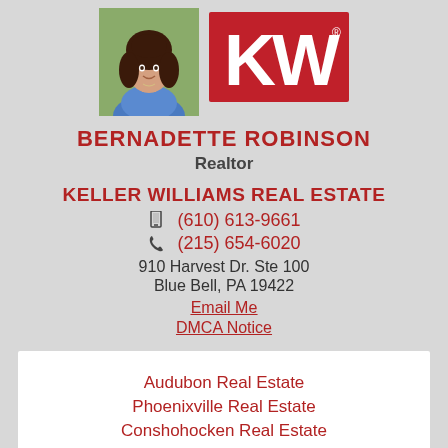[Figure (photo): Headshot photo of Bernadette Robinson, a woman with long dark hair, wearing a blue floral top]
[Figure (logo): Keller Williams KW logo — white KW letters on red background]
BERNADETTE ROBINSON
Realtor
KELLER WILLIAMS REAL ESTATE
(610) 613-9661
(215) 654-6020
910 Harvest Dr. Ste 100
Blue Bell, PA 19422
Email Me
DMCA Notice
Audubon Real Estate
Phoenixville Real Estate
Conshohocken Real Estate
Lansdale Real Estate